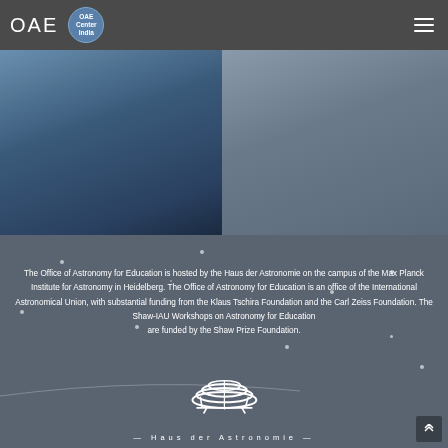OAE | OAE Center India
[Figure (photo): Header bar with OAE logo (white text 'OAE' and circular OAE Center India badge) on dark grey background, with hamburger menu icon on right. Below is a hero image area showing a blue-toned photograph.]
The Office of Astronomy for Education is hosted by the Haus der Astronomie on the campus of the Max Planck Institute for Astronomy in Heidelberg. The Office of Astronomy for Education is an office of the International Astronomical Union, with substantial funding from the Klaus Tschira Foundation and the Carl Zeiss Foundation. The Shaw-IAU Workshops on Astronomy for Education are funded by the Shaw Prize Foundation.
[Figure (logo): Haus der Astronomie building logo — white stylized spiral/ring building silhouette above the text '— Haus der Astronomie —' in white spaced letters, on dark grey starfield background.]